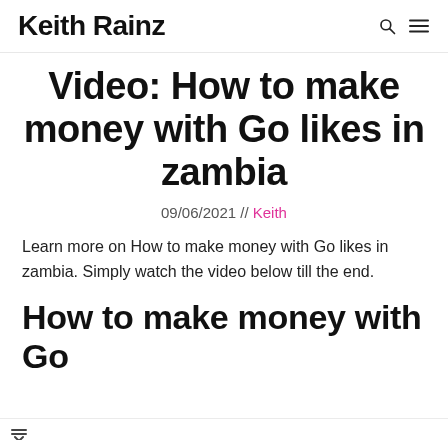Keith Rainz
Video: How to make money with Go likes in zambia
09/06/2021 // Keith
Learn more on How to make money with Go likes in zambia. Simply watch the video below till the end.
How to make money with Go